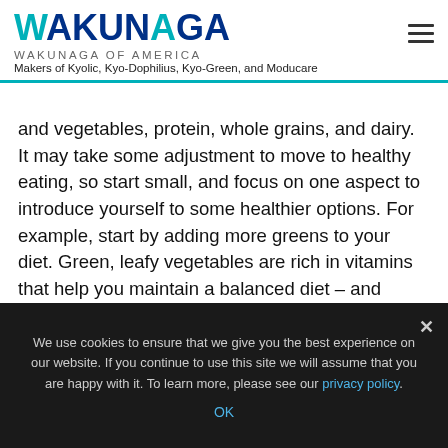WAKUNAGA | WAKUNAGA OF AMERICA | Makers of Kyolic, Kyo-Dophilius, Kyo-Green, and Moducare
and vegetables, protein, whole grains, and dairy. It may take some adjustment to move to healthy eating, so start small, and focus on one aspect to introduce yourself to some healthier options. For example, start by adding more greens to your diet. Green, leafy vegetables are rich in vitamins that help you maintain a balanced diet – and support a healthy immune system. One study showed that eating cruciferous vegetables sends a chemical signal to the body that boosts specific cell-surface proteins necessary for efficient immune-system function¹. An easy
We use cookies to ensure that we give you the best experience on our website. If you continue to use this site we will assume that you are happy with it. To learn more, please see our privacy policy. OK